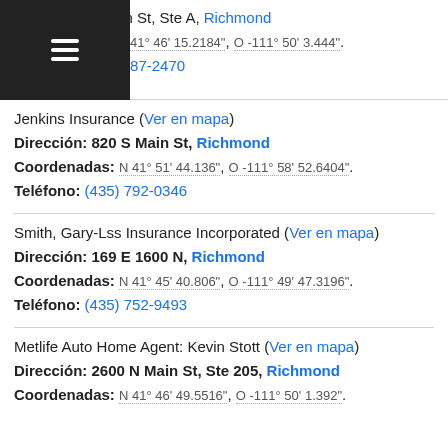ción: 2121 N Main St, Ste A, Richmond
Coordenadas: N 41° 46' 15.2184", O -111° 50' 3.444".
Teléfono: (435) 787-2470
Jenkins Insurance (Ver en mapa)
Dirección: 820 S Main St, Richmond
Coordenadas: N 41° 51' 44.136", O -111° 58' 52.6404".
Teléfono: (435) 792-0346
Smith, Gary-Lss Insurance Incorporated (Ver en mapa)
Dirección: 169 E 1600 N, Richmond
Coordenadas: N 41° 45' 40.806", O -111° 49' 47.3196".
Teléfono: (435) 752-9493
Metlife Auto Home Agent: Kevin Stott (Ver en mapa)
Dirección: 2600 N Main St, Ste 205, Richmond
Coordenadas: N 41° 46' 49.5516", O -111° 50' 1.392".